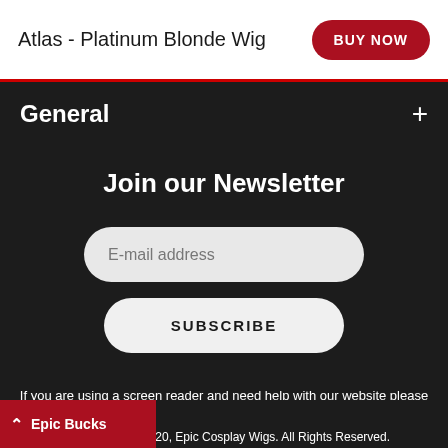Atlas - Platinum Blonde Wig
General
Join our Newsletter
E-mail address
SUBSCRIBE
If you are using a screen reader and need help with our website please call +1 949 334 6004 and we will assist you.
009-2020, Epic Cosplay Wigs. All Rights Reserved.
Epic Bucks